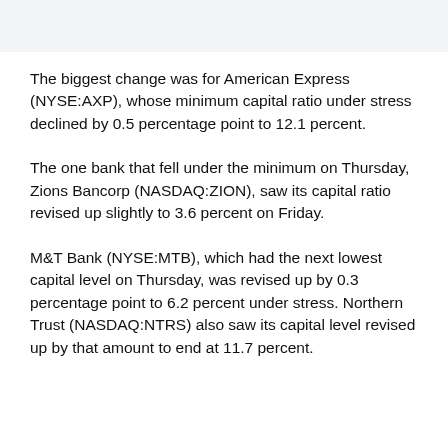The biggest change was for American Express (NYSE:AXP), whose minimum capital ratio under stress declined by 0.5 percentage point to 12.1 percent.
The one bank that fell under the minimum on Thursday, Zions Bancorp (NASDAQ:ZION), saw its capital ratio revised up slightly to 3.6 percent on Friday.
M&T Bank (NYSE:MTB), which had the next lowest capital level on Thursday, was revised up by 0.3 percentage point to 6.2 percent under stress. Northern Trust (NASDAQ:NTRS) also saw its capital level revised up by that amount to end at 11.7 percent.